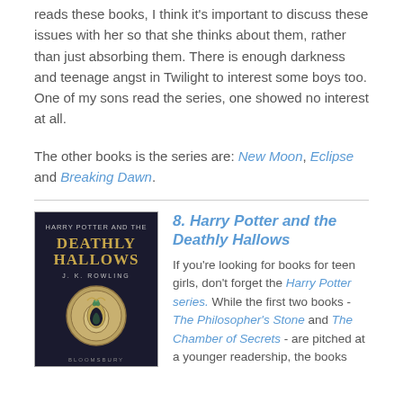reads these books, I think it's important to discuss these issues with her so that she thinks about them, rather than just absorbing them. There is enough darkness and teenage angst in Twilight to interest some boys too. One of my sons read the series, one showed no interest at all.
The other books is the series are: New Moon, Eclipse and Breaking Dawn.
[Figure (illustration): Book cover of Harry Potter and the Deathly Hallows by J. K. Rowling, dark blue background with golden medallion featuring a snake design]
8. Harry Potter and the Deathly Hallows
If you're looking for books for teen girls, don't forget the Harry Potter series. While the first two books - The Philosopher's Stone and The Chamber of Secrets - are pitched at a younger readership, the books